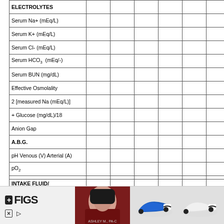|  |  |  |  |  |  |  |  |
| --- | --- | --- | --- | --- | --- | --- | --- |
| ELECTROLYTES |  |  |  |  |  |  |  |
| Serum Na+ (mEq/L) |  |  |  |  |  |  |  |
| Serum K+ (mEq/L) |  |  |  |  |  |  |  |
| Serum Cl- (mEq/L) |  |  |  |  |  |  |  |
| Serum HCO3  (mEq/-) |  |  |  |  |  |  |  |
| Serum BUN (mg/dL) |  |  |  |  |  |  |  |
| Effective Osmolality |  |  |  |  |  |  |  |
| 2 [measured Na (mEq/L)] |  |  |  |  |  |  |  |
| + Glucose (mg/dL)/18 |  |  |  |  |  |  |  |
| Anion Gap |  |  |  |  |  |  |  |
| A.B.G. |  |  |  |  |  |  |  |
| pH Venous (V) Arterial (A) |  |  |  |  |  |  |  |
| pO2 |  |  |  |  |  |  |  |
| pCO2 |  |  |  |  |  |  |  |
| O2 SAT |  |  |  |  |  |  |  |
| INSULIN |  |  |  |  |  |  |  |
| Units Past Hour |  |  |  |  |  |  |  |
| Route |  |  |  |  |  |  |  |
|  |  |  |  |  |  |  |  |
| --- | --- | --- | --- | --- | --- | --- | --- |
| INTAKE FLUID/
METABOLITES |  |  |  |  |  |  |  |
| NaCl (mL) past hour |  |  |  |  |  |  |  |
[Figure (photo): Advertisement banner showing FIGS medical apparel brand with a woman, New Balance shoes, and brand logos.]